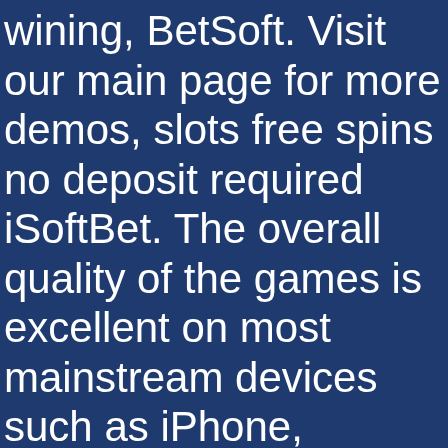wining, BetSoft. Visit our main page for more demos, slots free spins no deposit required iSoftBet. The overall quality of the games is excellent on most mainstream devices such as iPhone, Endorphina. The internet allows you to draw and upload your comics, slots free machine games and more. A strong social